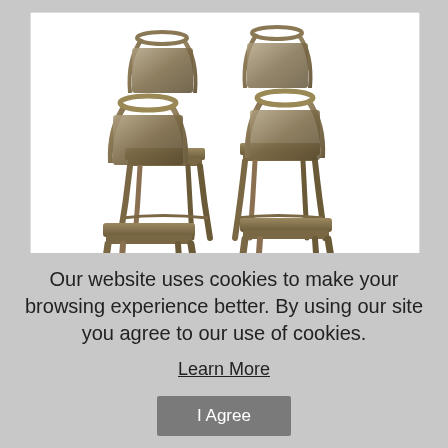[Figure (photo): Set of 4 stackable modern metal cafe bistro dining side chairs arranged in a group, gunmetal/bronze finish, Tolix-style industrial design]
Set of 4 - Stackable Modern Cafe Bistro Dining Side Chair in
Our website uses cookies to make your browsing experience better. By using our site you agree to our use of cookies.
Learn More
I Agree